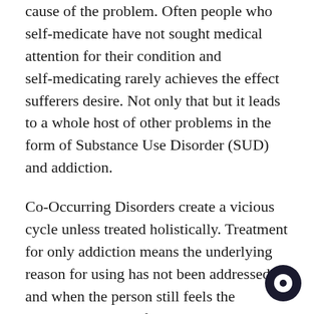cause of the problem. Often people who self-medicate have not sought medical attention for their condition and self-medicating rarely achieves the effect sufferers desire. Not only that but it leads to a whole host of other problems in the form of Substance Use Disorder (SUD) and addiction.
Co-Occurring Disorders create a vicious cycle unless treated holistically. Treatment for only addiction means the underlying reason for using has not been addressed, and when the person still feels the perpetual anxiety after treatment, they are likely to relapse and go back to using. Similarly, if only the anxiety is treated, the person is still suffering from addiction. Addiction typically fuels mental health disorders and can exacerbate the underlying mental health issues. Thus, comprehensive mental health and addiction treatment, usually in an established